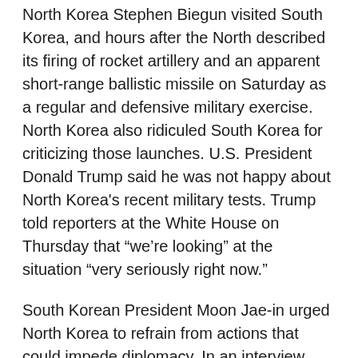North Korea Stephen Biegun visited South Korea, and hours after the North described its firing of rocket artillery and an apparent short-range ballistic missile on Saturday as a regular and defensive military exercise. North Korea also ridiculed South Korea for criticizing those launches. U.S. President Donald Trump said he was not happy about North Korea's recent military tests. Trump told reporters at the White House on Thursday that “we’re looking” at the situation “very seriously right now.”
South Korean President Moon Jae-in urged North Korea to refrain from actions that could impede diplomacy. In an interview with the KBS television network, Moon also said Seoul will explore various options to help revive the talks, including providing food aid to the North and pushing for his fourth summit with Kim.